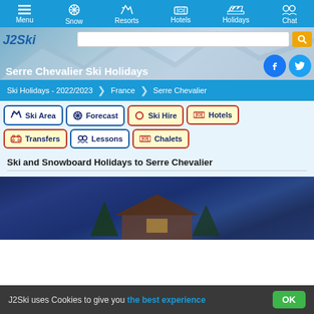Menu | Snow | Resorts | Hotels | Holidays | Chat
Serre Chevalier Ski Holidays
Ski Holidays - 2022/2023 > France > Serre Chevalier
Ski Area
Forecast
Ski Hire
Hotels
Transfers
Lessons
Chalets
Ski and Snowboard Holidays to Serre Chevalier
[Figure (photo): Exterior of a chalet at night with snow and trees, blue/purple lighting]
J2Ski uses Cookies to give you the best experience  OK